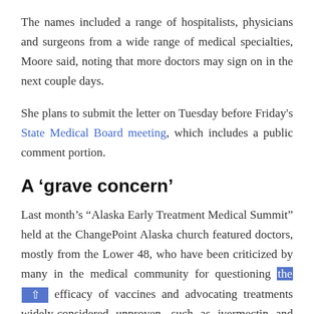The names included a range of hospitalists, physicians and surgeons from a wide range of medical specialties, Moore said, noting that more doctors may sign on in the next couple days.
She plans to submit the letter on Tuesday before Friday's State Medical Board meeting, which includes a public comment portion.
A ‘grave concern’
Last month’s “Alaska Early Treatment Medical Summit” held at the ChangePoint Alaska church featured doctors, mostly from the Lower 48, who have been criticized by many in the medical community for questioning the efficacy of vaccines and advocating treatments widely considered unproven, such as ivermectin and hydroxychloroquine.